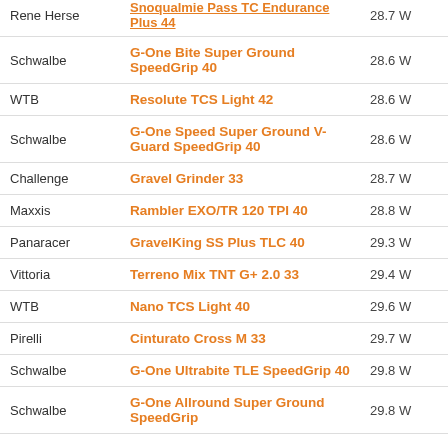| Brand | Model | Watts |
| --- | --- | --- |
| Rene Herse | Snoqualmie Pass TC Endurance Plus 44 | 28.7 W |
| Schwalbe | G-One Bite Super Ground SpeedGrip 40 | 28.6 W |
| WTB | Resolute TCS Light 42 | 28.6 W |
| Schwalbe | G-One Speed Super Ground V-Guard SpeedGrip 40 | 28.6 W |
| Challenge | Gravel Grinder 33 | 28.7 W |
| Maxxis | Rambler EXO/TR 120 TPI 40 | 28.8 W |
| Panaracer | GravelKing SS Plus TLC 40 | 29.3 W |
| Vittoria | Terreno Mix TNT G+ 2.0 33 | 29.4 W |
| WTB | Nano TCS Light 40 | 29.6 W |
| Pirelli | Cinturato Cross M 33 | 29.7 W |
| Schwalbe | G-One Ultrabite TLE SpeedGrip 40 | 29.8 W |
| Schwalbe | G-One Allround Super Ground SpeedGrip | 29.8 W |